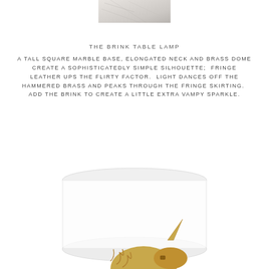[Figure (photo): Top portion of a marble base lamp, cropped at the top of the page]
THE BRINK TABLE LAMP
A TALL SQUARE MARBLE BASE, ELONGATED NECK AND BRASS DOME CREATE A SOPHISTICATEDLY SIMPLE SILHOUETTE;  FRINGE LEATHER UPS THE FLIRTY FACTOR.  LIGHT DANCES OFF THE HAMMERED BRASS AND PEAKS THROUGH THE FRINGE SKIRTING.  ADD THE BRINK TO CREATE A LITTLE EXTRA VAMPY SPARKLE.
[Figure (photo): Gold unicorn head table lamp with white drum shade, photographed against white background]